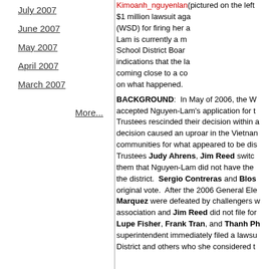July 2007
June 2007
May 2007
April 2007
March 2007
More...
Kimoanh_nguyenlan (pictured on the left $1 million lawsuit aga (WSD) for firing her a Lam is currently a m School District Boar indications that the la coming close to a co on what happened.
BACKGROUND:  In May of 2006, the W accepted Nguyen-Lam's application for t Trustees rescinded their decision within a decision caused an uproar in the Vietnan communities for what appeared to be dis Trustees Judy Ahrens, Jim Reed switc them that Nguyen-Lam did not have the the district.  Sergio Contreras and Blos original vote.  After the 2006 General Ele Marquez were defeated by challengers w association and Jim Reed did not file for Lupe Fisher, Frank Tran, and Thanh Ph superintendent immediately filed a lawsu District and others who she considered t